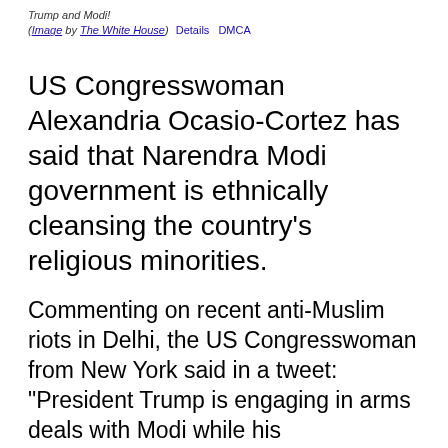Trump and Modi! (Image by The White House)  Details  DMCA
US Congresswoman Alexandria Ocasio-Cortez has said that Narendra Modi government is ethnically cleansing the country's religious minorities.
Commenting on recent anti-Muslim riots in Delhi, the US Congresswoman from New York said in a tweet: "President Trump is engaging in arms deals with Modi while his administration is ethnically cleansing the country's religious minorities. We must not enable this rise in sectarian violence." Cortez shared a report by The Guardian that called the Delhi anti-Muslim riot a "Hindu nationalist rampage".
Cortez's comments come days after Democratic presidential candidate and senator Bernie Sanders's reaction to the rioting in northeast Delhi. Sanders too had criticized Trump for his show of great